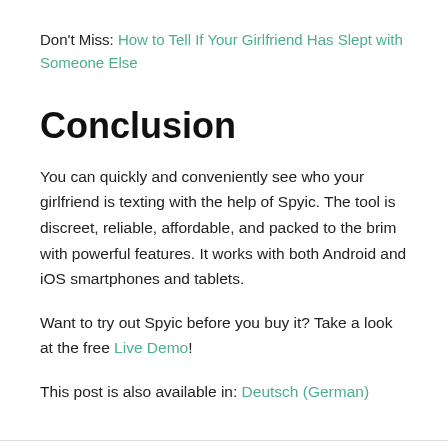Don't Miss: How to Tell If Your Girlfriend Has Slept with Someone Else
Conclusion
You can quickly and conveniently see who your girlfriend is texting with the help of Spyic. The tool is discreet, reliable, affordable, and packed to the brim with powerful features. It works with both Android and iOS smartphones and tablets.
Want to try out Spyic before you buy it? Take a look at the free Live Demo!
This post is also available in: Deutsch (German)